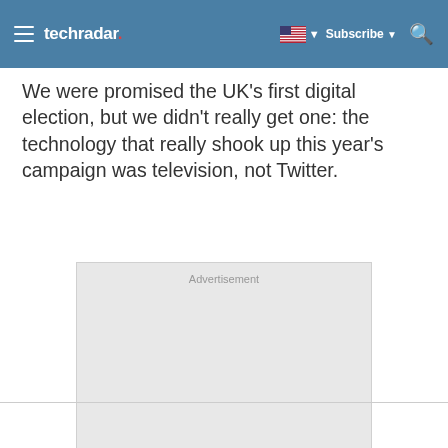techradar
We were promised the UK's first digital election, but we didn't really get one: the technology that really shook up this year's campaign was television, not Twitter.
[Figure (other): Advertisement placeholder box with grey background and 'Advertisement' label at top]